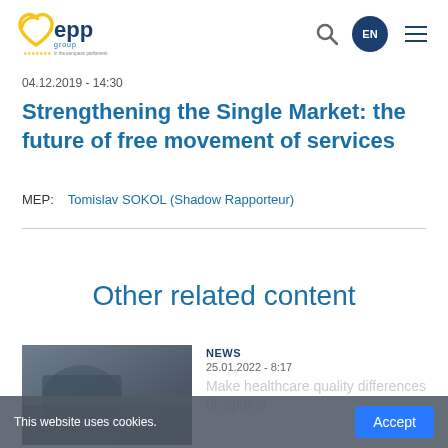[Figure (logo): EPP Group logo - European People's Party group in the European Parliament, with yellow heart/arc and blue text]
04.12.2019 - 14:30
Strengthening the Single Market: the future of free movement of services
MEP:  Tomislav SOKOL (Shadow Rapporteur)
Other related content
NEWS
25.01.2022 - 8:17
Make healthcare quality differences disappear
This website uses cookies.